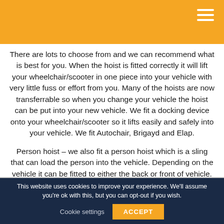There are lots to choose from and we can recommend what is best for you. When the hoist is fitted correctly it will lift your wheelchair/scooter in one piece into your vehicle with very little fuss or effort from you. Many of the hoists are now transferrable so when you change your vehicle the hoist can be put into your new vehicle. We fit a docking device onto your wheelchair/scooter so it lifts easily and safely into your vehicle. We fit Autochair, Brigayd and Elap.
Person hoist – we also fit a person hoist which is a sling that can load the person into the vehicle. Depending on the vehicle it can be fitted to either the back or front of vehicle.
This website uses cookies to improve your experience. We'll assume you're ok with this, but you can opt-out if you wish.